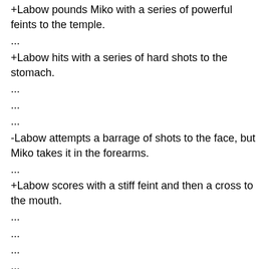+Labow pounds Miko with a series of powerful feints to the temple.
...
+Labow hits with a series of hard shots to the stomach.
...
...
...
-Labow attempts a barrage of shots to the face, but Miko takes it in the forearms.
...
+Labow scores with a stiff feint and then a cross to the mouth.
...
...
...
...
-Labow tries a barrage of left shots to the nose, but misses.
...